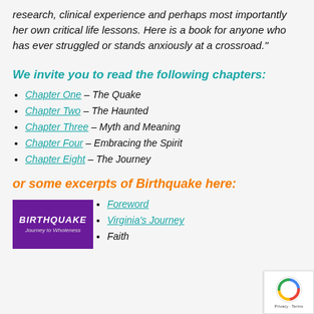research, clinical experience and perhaps most importantly her own critical life lessons. Here is a book for anyone who has ever struggled or stands anxiously at a crossroad."
We invite you to read the following chapters:
Chapter One – The Quake
Chapter Two – The Haunted
Chapter Three – Myth and Meaning
Chapter Four – Embracing the Spirit
Chapter Eight – The Journey
or some excerpts of Birthquake here:
[Figure (illustration): Book cover of BIRTHQUAKE with purple background and subtitle 'Journey to Wholeness']
Foreword
Virginia's Journey
Faith